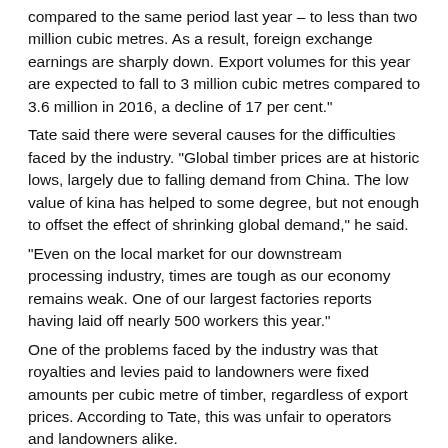compared to the same period last year – to less than two million cubic metres.  As a result, foreign exchange earnings are sharply down. Export volumes for this year are expected to fall to 3 million cubic metres compared to 3.6 million in 2016, a decline of 17 per cent."
Tate said there were several causes for the difficulties faced by the industry.  "Global timber prices are at historic lows, largely due to falling demand from China. The low value of kina has helped to some degree, but not enough to offset the effect of shrinking global demand," he said.
"Even on the local market for our downstream processing industry, times are tough as our economy remains weak. One of our largest factories reports having laid off nearly 500 workers this year."
One of the problems faced by the industry was that royalties and levies paid to landowners were fixed amounts per cubic metre of timber, regardless of export prices. According to Tate, this was unfair to operators and landowners alike.
"Operators pay landowners US$12 (about K39) per cubic metre harvested. When export prices are strong – for example, US$200 (about K658) per cubic metre – this represents 6 per cent of the sales price, which leaves enough revenue to pay taxes and operating costs," he said.